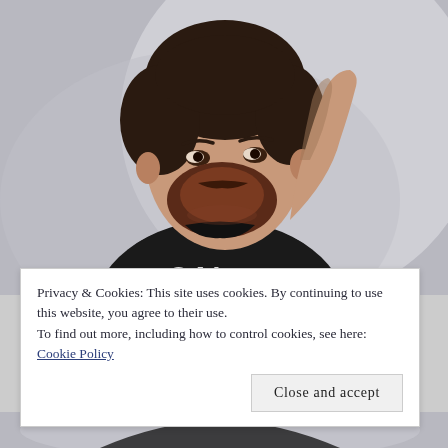[Figure (photo): A young bearded man with dark hair, wearing a black t-shirt with text 'CALI...' partially visible, posing with one hand behind his head against a light gray background. Photo taken from slightly above.]
Privacy & Cookies: This site uses cookies. By continuing to use this website, you agree to their use.
To find out more, including how to control cookies, see here: Cookie Policy
Close and accept